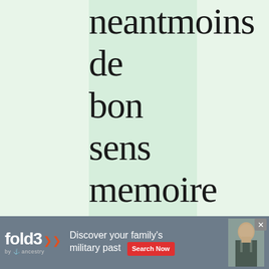neantmoins de bon sens memoire et entendement, A
[Figure (screenshot): Advertisement banner for Fold3 by Ancestry: 'Discover your family's military past' with Search Now button and a military portrait photograph.]